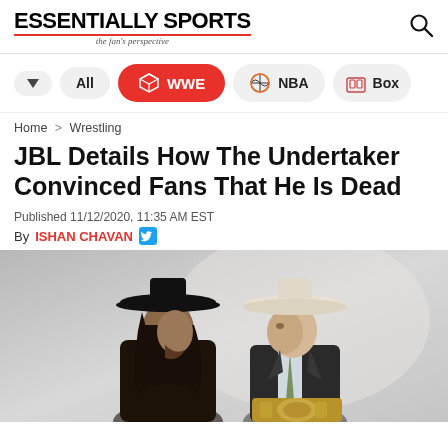ESSENTIALLY SPORTS — the fan's perspective
[Figure (infographic): Navigation bar with dropdown arrow, All button, WWE (active/red), NBA, and partially visible Box buttons]
Home > Wrestling
JBL Details How The Undertaker Convinced Fans That He Is Dead
Published 11/12/2020, 11:35 AM EST
By ISHAN CHAVAN
[Figure (photo): Two men in cowboy hats facing each other. Left figure wears a black wide-brim hat and dark jacket with long hair. Right figure wears a white/cream cowboy hat and a suit with a wrestling championship belt visible.]